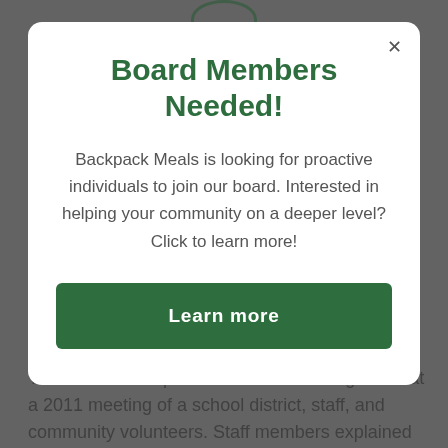[Figure (screenshot): Website screenshot showing a modal popup over a dimmed background page. Background shows partial logo, 'About Us' heading, and beginning of body text about Backpack Meals for Kids.]
Board Members Needed!
Backpack Meals is looking for proactive individuals to join our board. Interested in helping your community on a deeper level? Click to learn more!
Learn more
About Us
The idea of Backpack Meals for Kids originated at a 2011 meeting of a school district, staff, and community volunteers. Staff members explained the growing problem of weekend hunger; students from